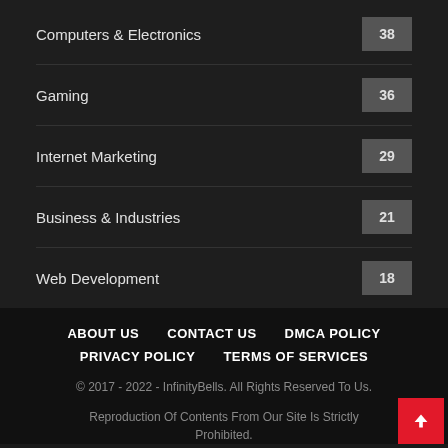Computers & Electronics 38
Gaming 36
Internet Marketing 29
Business & Industries 21
Web Development 18
ABOUT US  CONTACT US  DMCA POLICY  PRIVACY POLICY  TERMS OF SERVICES
© 2017 - 2022 - InfinityBells. All Rights Reserved To Us.
Reproduction Of Contents From Our Site Is Strictly Prohibited.